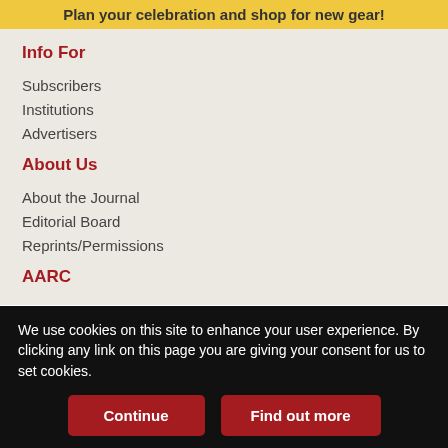Plan your celebration and shop for new gear!
Info For
Subscribers
Institutions
Advertisers
About Us
About the Journal
Editorial Board
Reprints/Permissions
AARC
We use cookies on this site to enhance your user experience. By clicking any link on this page you are giving your consent for us to set cookies.
Continue
Find out more